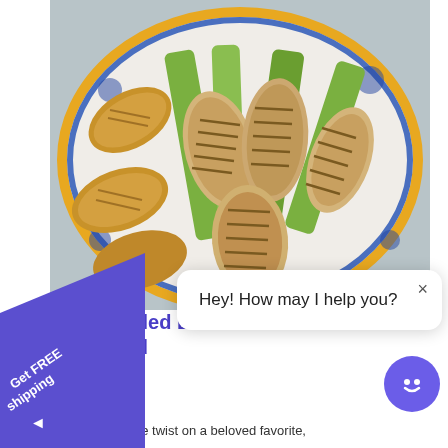[Figure (photo): Overhead photo of grilled chicken pieces and grilled vegetables (bok choy/lettuce) arranged on a decorative ceramic plate with blue and gold floral border pattern, with grilled bread slices, on a white wooden surface.]
[Figure (infographic): Purple diagonal banner in bottom-left corner with white text reading 'Get FREE shipping' and a left-pointing arrow.]
Grilled Low... alad
[Figure (screenshot): Chat popup widget showing a white rounded rectangle with close X button, text 'Hey! How may I help you?' and a purple circle chat button with smiley face icon.]
er-time twist on a beloved favorite,